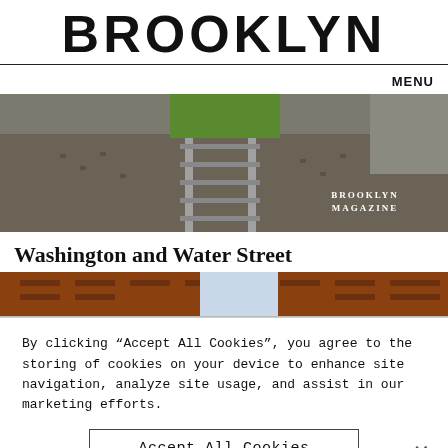BROOKLYN
MENU
[Figure (photo): Railroad tracks on cobblestones with watermark text BROOKLYN MAGAZINE]
Washington and Water Street
[Figure (photo): Aerial/angled view of brick building rooftops]
By clicking “Accept All Cookies”, you agree to the storing of cookies on your device to enhance site navigation, analyze site usage, and assist in our marketing efforts.
Accept All Cookies